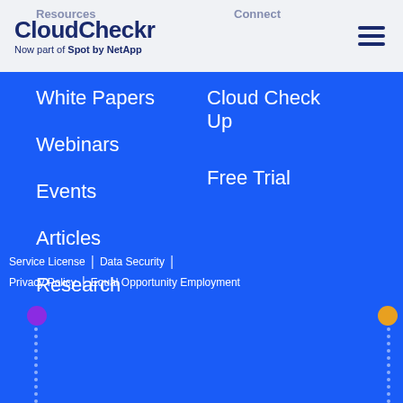CloudCheckr — Now part of Spot by NetApp
White Papers
Webinars
Events
Articles
Research
Cloud Check Up
Free Trial
Service License | Data Security | Privacy Policy | Equal Opportunity Employment